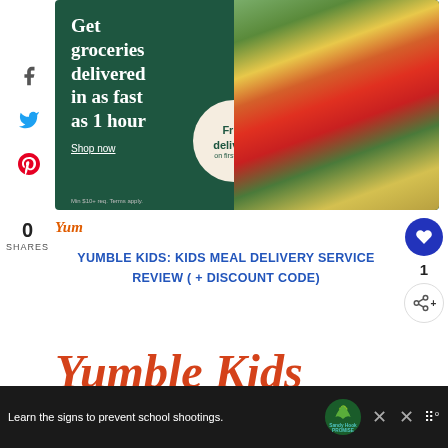[Figure (infographic): Grocery delivery advertisement banner: dark green background with white serif text 'Get groceries delivered in as fast as 1 hour', 'Shop now' link, a beige circle with 'Free delivery on first order', and photo of fresh vegetables (broccoli, tomatoes, corn, zucchini)]
0
SHARES
[Figure (logo): Yum icon - orange italic cursive text logo]
YUMBLE KIDS: KIDS MEAL DELIVERY SERVICE REVIEW ( + DISCOUNT CODE)
[Figure (illustration): Heart button (dark blue circle with white heart icon) and share button]
Yumble Kids
[Figure (infographic): Bottom advertisement bar: dark background with text 'Learn the signs to prevent school shootings.' and Sandy Hook Promise logo (green tree icon with teal text), close X button, and menu icon]